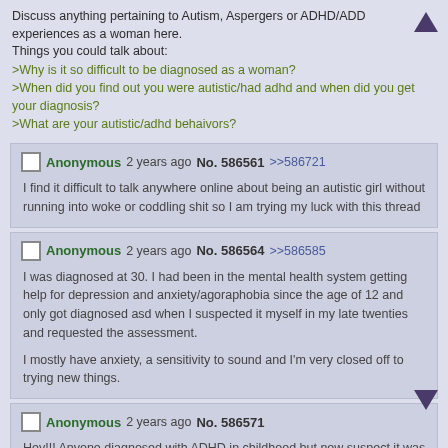Discuss anything pertaining to Autism, Aspergers or ADHD/ADD experiences as a woman here.
Things you could talk about:
>Why is it so difficult to be diagnosed as a woman?
>When did you find out you were autistic/had adhd and when did you get your diagnosis?
>What are your autistic/adhd behaivors?
Anonymous 2 years ago No. 586561 >>586721
I find it difficult to talk anywhere online about being an autistic girl without running into woke or coddling shit so I am trying my luck with this thread
Anonymous 2 years ago No. 586564 >>586585
I was diagnosed at 30. I had been in the mental health system getting help for depression and anxiety/agoraphobia since the age of 12 and only got diagnosed asd when I suspected it myself in my late twenties and requested the assessment.

I mostly have anxiety, a sensitivity to sound and I'm very closed off to trying new things.
Anonymous 2 years ago No. 586571
Hey!!! Anyone diagnosed with ADHD in childhood but now suspect it was autism all along? I was diagnosed with ADHD at age 7 and treated with Ritalin and concerta for 15 years. Now I'm med-free and realizing many of my symptoms were likely autism, not adhd.